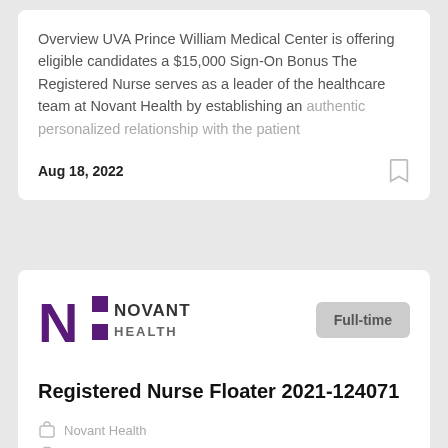Overview UVA Prince William Medical Center is offering eligible candidates a $15,000 Sign-On Bonus The Registered Nurse serves as a leader of the healthcare team at Novant Health by establishing an authentic personalized relationship with the patient
Aug 18, 2022
[Figure (logo): Novant Health logo with purple N and two purple squares beside text NOVANT HEALTH]
Full-time
Registered Nurse Floater 2021-124071
Novant Health
Manassas, VA, USA